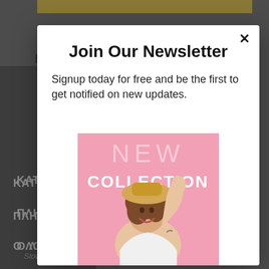[Figure (screenshot): Background of a website with dark grey navigation sidebar showing Greek menu items (ΚΑΤ, ΠΛΗ, Ο ΛΟ, ΔΙΕΥΘ) and a golden top bar, partially obscured by a modal popup]
Join Our Newsletter
Signup today for free and be the first to get notified on new updates.
[Figure (photo): Pink promotional banner with text 'NEW COLLECTION' and a smiling woman wearing a straw hat, waving and showing a tattoo on her wrist]